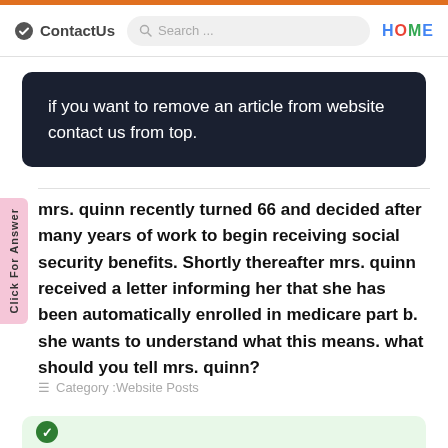ContactUs  Search...  HOME
if you want to remove an article from website contact us from top.
mrs. quinn recently turned 66 and decided after many years of work to begin receiving social security benefits. Shortly thereafter mrs. quinn received a letter informing her that she has been automatically enrolled in medicare part b. she wants to understand what this means. what should you tell mrs. quinn?
Category :Website Posts